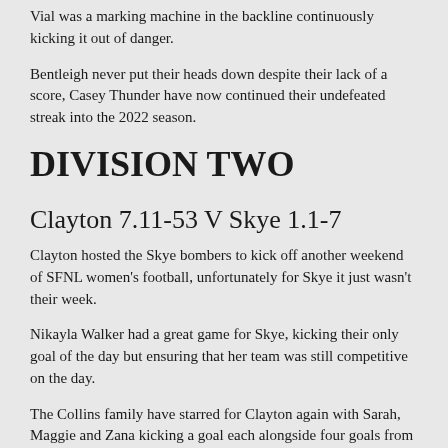Vial was a marking machine in the backline continuously kicking it out of danger.
Bentleigh never put their heads down despite their lack of a score, Casey Thunder have now continued their undefeated streak into the 2022 season.
DIVISION TWO
Clayton 7.11-53 V Skye 1.1-7
Clayton hosted the Skye bombers to kick off another weekend of SFNL women's football, unfortunately for Skye it just wasn't their week.
Nikayla Walker had a great game for Skye, kicking their only goal of the day but ensuring that her team was still competitive on the day.
The Collins family have starred for Clayton again with Sarah, Maggie and Zana kicking a goal each alongside four goals from